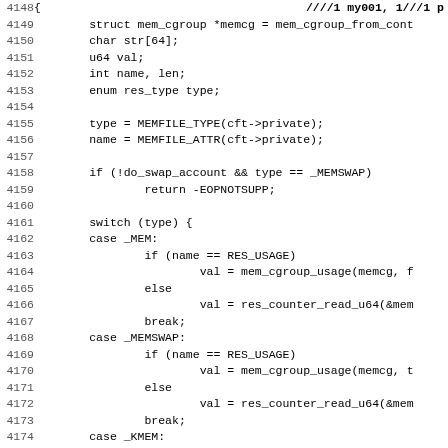[Figure (other): Source code listing (C) showing lines 4148-4179 of a kernel memory cgroup file, including struct declarations, switch statements for memory types _MEM, _MEMSWAP, _KMEM.]